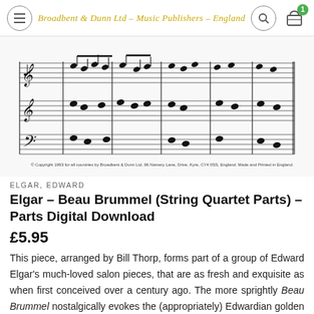Broadbent & Dunn Ltd – Music Publishers – England
[Figure (photo): Sheet music excerpt showing three staves of orchestral/string quartet notation with musical notes, dynamics, and performance markings. Copyright notice at bottom reads: © Copyright 1993 for all countries by Broadbent & Dunn Ltd, 96 Namery Lane, Drive, Kyre, CY4 0SS, England. Made and Printed in England.]
ELGAR, EDWARD
Elgar – Beau Brummel (String Quartet Parts) – Parts Digital Download
£5.95
This piece, arranged by Bill Thorp, forms part of a group of Edward Elgar's much-loved salon pieces, that are as fresh and exquisite as when first conceived over a century ago. The more sprightly Beau Brummel nostalgically evokes the (appropriately) Edwardian golden age, and will